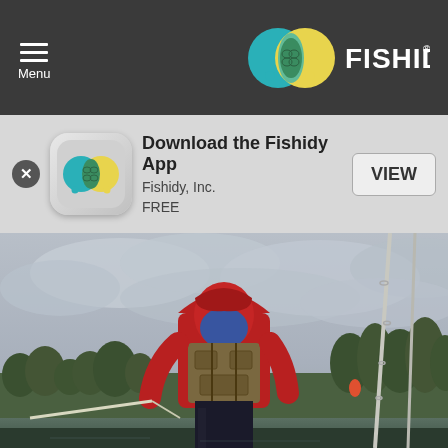Menu | FISHIDY
Download the Fishidy App
Fishidy, Inc.
FREE
VIEW
[Figure (photo): A person wearing a red hoodie, blue face mask/gaiter, and a tactical/fishing vest standing on a boat on a lake or waterway. They are holding what appears to be a fishing rod or paddle. Fishing rods are visible on the right side. Background shows overcast grey sky, trees, and green shoreline vegetation.]